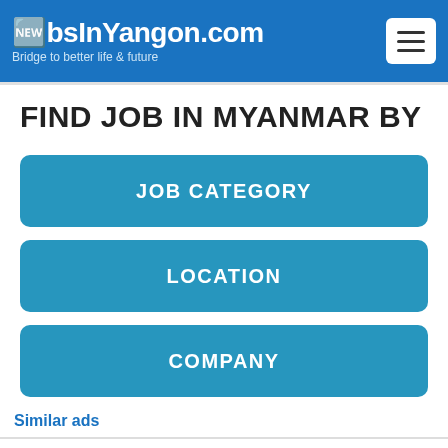JobsInYangon.com — Bridge to better life & future
FIND JOB IN MYANMAR BY
JOB CATEGORY
LOCATION
COMPANY
Similar ads
Chinese/English Translator M/F (1)
Myanmar Unilink Co., Ltd
Yangon (Rangoon)
7 Days